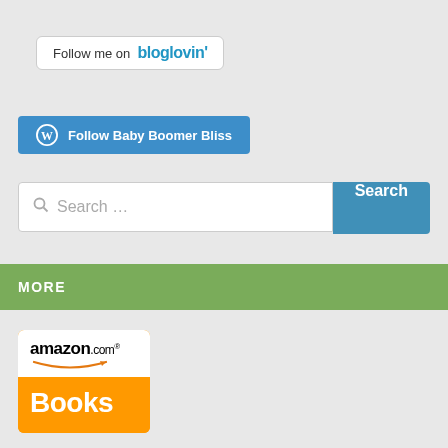[Figure (logo): Bloglovin follow button with white background, rounded border, text 'Follow me on bloglovin']
[Figure (logo): WordPress Follow Baby Boomer Bliss blue button with WordPress icon]
[Figure (screenshot): Search box with placeholder text 'Search ...' and a blue Search button]
MORE
[Figure (logo): Amazon.com Books logo - orange box with amazon.com text on white top and Books text on orange bottom]